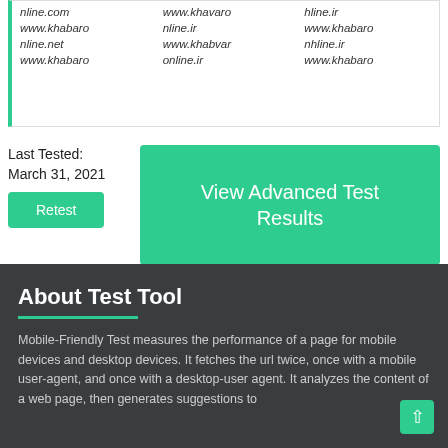| nline.com
www.khabaronline.net
www.khabaro | www.khavaronline.ir
www.khabvaronline.ir | hline.ir
www.khabaronhline.ir
www.khabaro |
Last Tested:
March 31, 2021
Retest
View Advanced Test Results
About Test Tool
Mobile-Friendly Test measures the performance of a page for mobile devices and desktop devices. It fetches the url twice, once with a mobile user-agent, and once with a desktop-user agent. It analyzes the content of a web page, then generates suggestions to